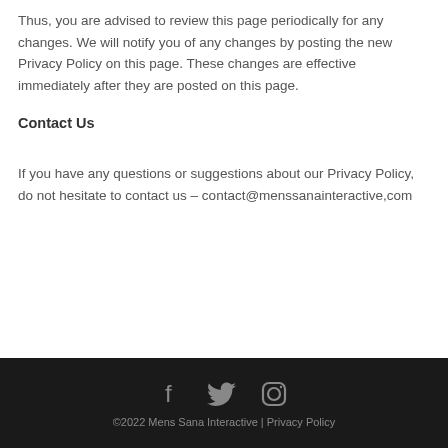Thus, you are advised to review this page periodically for any changes. We will notify you of any changes by posting the new Privacy Policy on this page. These changes are effective immediately after they are posted on this page.
Contact Us
If you have any questions or suggestions about our Privacy Policy, do not hesitate to contact us – contact@menssanainteractive,com
©2022 Mens Sana Interactive | Privacy Policy